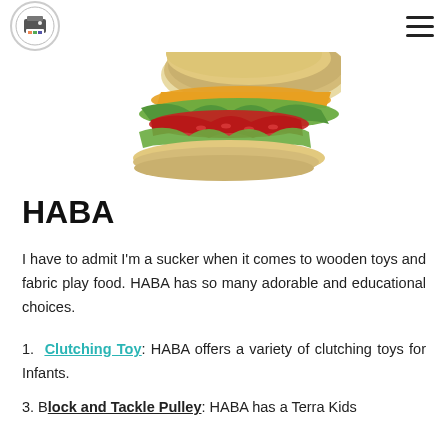[Figure (photo): A toy fabric sandwich with bread, lettuce, tomato, and cheese layers visible from the side.]
HABA
I have to admit I'm a sucker when it comes to wooden toys and fabric play food. HABA has so many adorable and educational choices.
1. Clutching Toy: HABA offers a variety of clutching toys for Infants.
3. Block and Tackle Pulley: HABA has a Terra Kids...